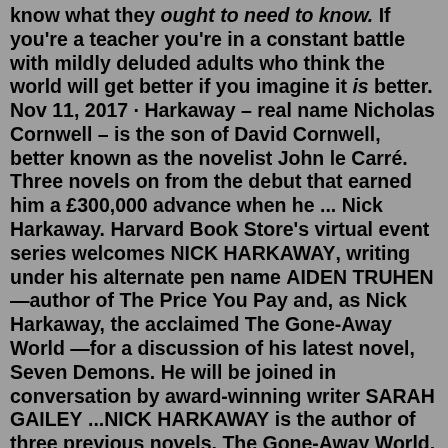know what they <i>ought to need to know.</i> If you're a teacher you're in a constant battle with mildly deluded adults who think the world will get better if you imagine it <i>is</i> better. Nov 11, 2017 · Harkaway – real name Nicholas Cornwell – is the son of David Cornwell, better known as the novelist John le Carré. Three novels on from the debut that earned him a £300,000 advance when he ... Nick Harkaway. Harvard Book Store's virtual event series welcomes NICK HARKAWAY, writing under his alternate pen name AIDEN TRUHEN—author of The Price You Pay and, as Nick Harkaway, the acclaimed The Gone-Away World —for a discussion of his latest novel, Seven Demons. He will be joined in conversation by award-winning writer SARAH GAILEY ...NICK HARKAWAY is the author of three previous novels, The Gone-Away World, Angelmaker, and Tigerman, as well as a nonfiction work about digital culture, The Blind Giant: Being Human in a Digital World. He is also a regular blogger for The Bookseller's FutureBook website.Author